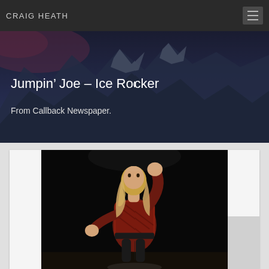CRAIG HEATH
Jumpin’ Joe – Ice Rocker
From Callback Newspaper.
[Figure (photo): A person with long blonde hair wearing a red patterned top, posing dynamically on ice with one fist raised, dark background]